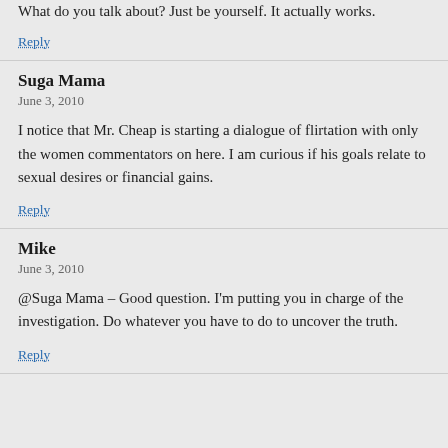What do you talk about? Just be yourself. It actually works.
Reply
Suga Mama
June 3, 2010
I notice that Mr. Cheap is starting a dialogue of flirtation with only the women commentators on here. I am curious if his goals relate to sexual desires or financial gains.
Reply
Mike
June 3, 2010
@Suga Mama – Good question. I'm putting you in charge of the investigation. Do whatever you have to do to uncover the truth.
Reply